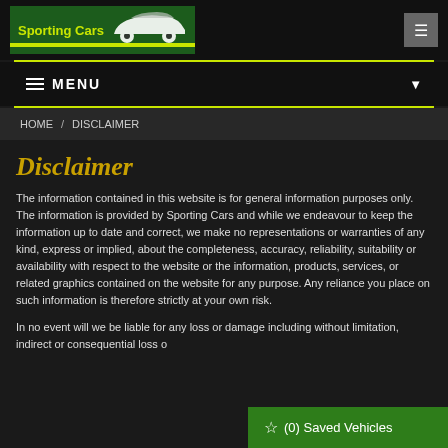[Figure (logo): Sporting Cars logo with green background, yellow text and yellow stripe, white car silhouette]
MENU
HOME / DISCLAIMER
Disclaimer
The information contained in this website is for general information purposes only. The information is provided by Sporting Cars and while we endeavour to keep the information up to date and correct, we make no representations or warranties of any kind, express or implied, about the completeness, accuracy, reliability, suitability or availability with respect to the website or the information, products, services, or related graphics contained on the website for any purpose. Any reliance you place on such information is therefore strictly at your own risk.
In no event will we be liable for any loss or damage including without limitation, indirect or consequential loss o
☆ (0) Saved Vehicles